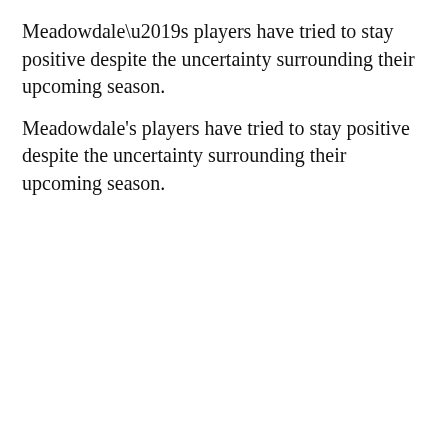Meadowdale’s players have tried to stay positive despite the uncertainty surrounding their upcoming season.
[Figure (other): Advertisement banner for That Chicken Place reading 'The Place to Be!' with yellow background, logo circle, Facebook icon, and food image on right.]
“(We) just wanna put in as much work as we can and just hope for the best,” Matson said. “We’re not gonna take it like, ‘Oh, we’re done.’ We’re gonna do our best to push forward and move on with where this is going.”
Ultimately, there’s still some disappointment amongst the players.
Senior Casey Toler’s role on the team is as a pit